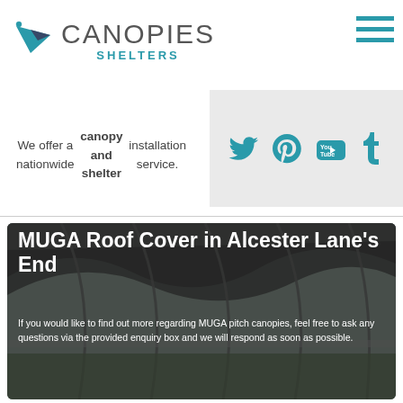[Figure (logo): Canopies Shelters logo with teal geometric bird/arrow icon and text 'CANOPIES SHELTERS']
We offer a nationwide canopy and shelter installation service.
[Figure (infographic): Social media icons: Twitter, Pinterest, YouTube, Tumblr on grey background]
MUGA Roof Cover in Alcester Lane's End
If you would like to find out more regarding MUGA pitch canopies, feel free to ask any questions via the provided enquiry box and we will respond as soon as possible.